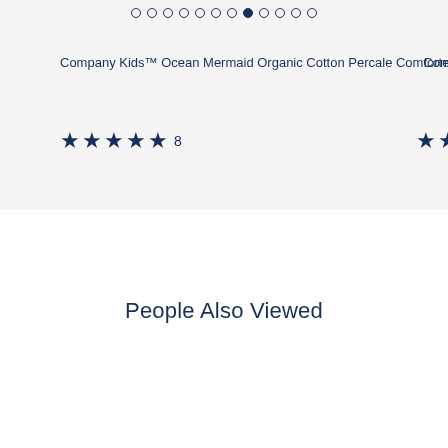Company Kids™ Ocean Mermaid Organic Cotton Percale Comforter
★★★★★ 8
People Also Viewed